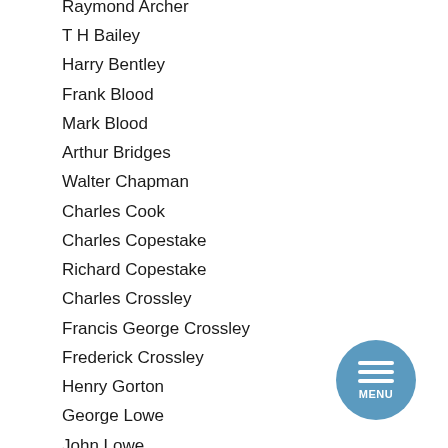Raymond Archer
T H Bailey
Harry Bentley
Frank Blood
Mark Blood
Arthur Bridges
Walter Chapman
Charles Cook
Charles Copestake
Richard Copestake
Charles Crossley
Francis George Crossley
Frederick Crossley
Henry Gorton
George Lowe
John Lowe
William Parker
Joe Priestley
Richard Pye